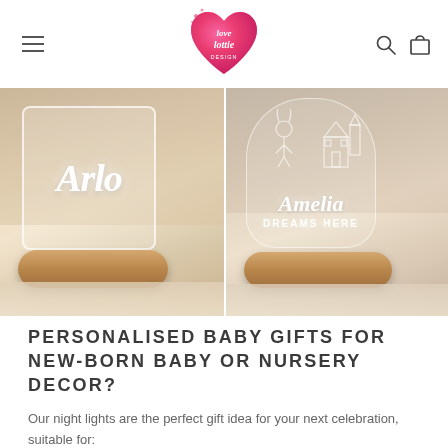love lottie
[Figure (photo): Two side-by-side product photos of personalised acrylic night lights on wooden bases. Left photo shows a clear acrylic square night light with cursive script reading 'Arlo' on a warm wooden oval base, held by a child. Right photo shows a dome-shaped acrylic night light with the text 'Amelia DREAMS HERE' and illustrated characters on a wooden base.]
PERSONALISED BABY GIFTS FOR NEW-BORN BABY OR NURSERY DECOR?
Our night lights are the perfect gift idea for your next celebration, suitable for: